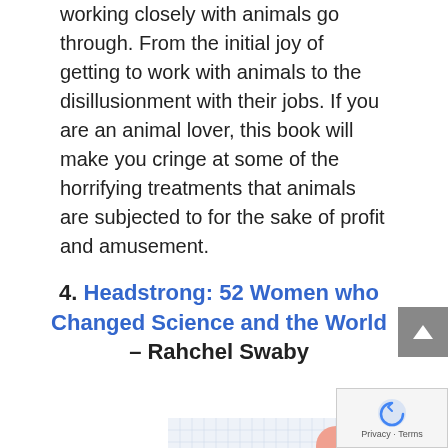working closely with animals go through. From the initial joy of getting to work with animals to the disillusionment with their jobs. If you are an animal lover, this book will make you cringe at some of the horrifying treatments that animals are subjected to for the sake of profit and amusement.
4. Headstrong: 52 Women who Changed Science and the World – Rahchel Swaby
[Figure (illustration): Book cover of 'Headstrong: 52 Women Who Changed Science and the World' by Rachel Swaby. White grid background with colorful circles (green, orange, teal, red, pink) and circular black-and-white portrait photos of women. Large green circle in the center with bold text reading 'Headstrong 52 Women Who Changed Science— and the World'.]